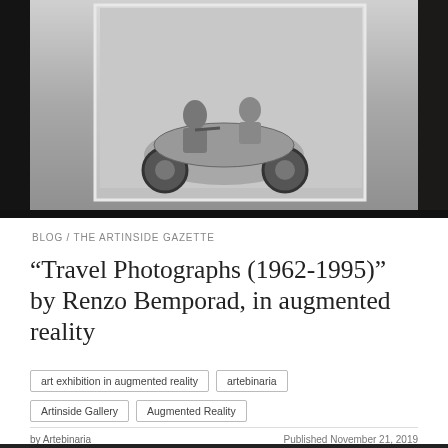[Figure (photo): Black and white photograph showing people on a scooter/motorcycle, displayed as a mounted print against a dark background]
BLOG / THE ARTINSIDE GAZETTE
“Travel Photographs (1962-1995)” by Renzo Bemporad, in augmented reality
art exhibition in augmented reality
artebinaria
Artinside Gallery
Augmented Reality
by Artebinaria
Published November 21, 2019